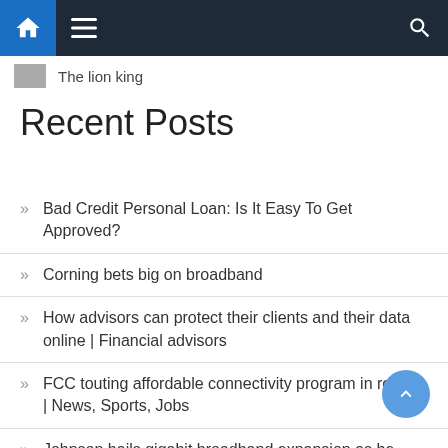Navigation bar with home, menu, and search icons
The lion king
Recent Posts
Bad Credit Personal Loan: Is It Easy To Get Approved?
Corning bets big on broadband
How advisors can protect their clients and their data online | Financial advisors
FCC touting affordable connectivity program in region | News, Sports, Jobs
Johnson hails gigabit broadband expansion as he takes